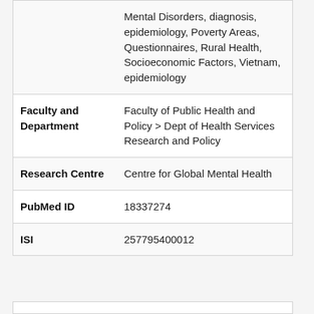| Field | Value |
| --- | --- |
|  | Mental Disorders, diagnosis, epidemiology, Poverty Areas, Questionnaires, Rural Health, Socioeconomic Factors, Vietnam, epidemiology |
| Faculty and Department | Faculty of Public Health and Policy > Dept of Health Services Research and Policy |
| Research Centre | Centre for Global Mental Health |
| PubMed ID | 18337274 |
| ISI | 257795400012 |